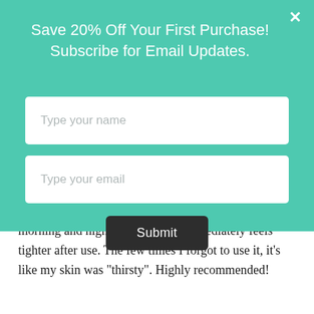Save 20% Off Your First Purchase! Subscribe for Email Updates.
Type your name
Type your email
Submit
morning and night, and my skin immediately feels tighter after use. The few times I forgot to use it, it’s like my skin was “thirsty”. Highly recommended!
7.
[Figure (photo): Profile photo of a reviewer, a woman with highlighted hair]
[Figure (other): Star rating row showing approximately 4-5 gold stars]